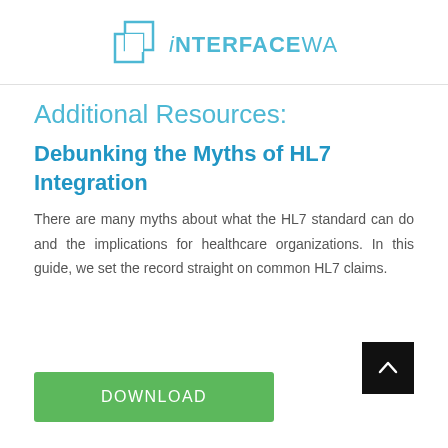[Figure (logo): Interfaceware logo with overlapping square outlines and company name iNTERFACEWARE in blue text]
Additional Resources:
Debunking the Myths of HL7 Integration
There are many myths about what the HL7 standard can do and the implications for healthcare organizations. In this guide, we set the record straight on common HL7 claims.
DOWNLOAD